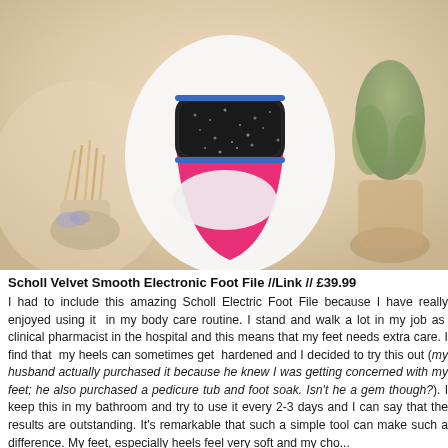[Figure (photo): Close-up photo of a pink and white Scholl Velvet Smooth Electronic Foot File with a dark abrasive roller, held up against a blurred background with reed diffuser sticks and a cactus plant.]
Scholl Velvet Smooth Electronic Foot File //Link // £39.99
I had to include this amazing Scholl Electric Foot File because I have really enjoyed using it in my body care routine. I stand and walk a lot in my job as a clinical pharmacist in the hospital and this means that my feet needs extra care. I find that my heels can sometimes get hardened and I decided to try this out (my husband actually purchased it because he knew I was getting concerned with my feet; he also purchased a pedicure tub and foot soak. Isn't he a gem though?). I keep this in my bathroom and try to use it every 2-3 days and I can say that the results are outstanding. It's remarkable that such a simple tool can make such a difference. My feet, especially heels feel very soft and my cho...